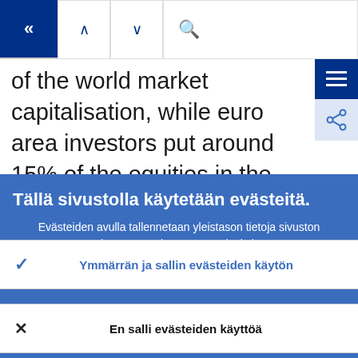[Figure (screenshot): Navigation bar with back button (dark blue with chevrons), up/down arrows, and search icon]
of the world market capitalisation, while euro area investors put around 15% of the equities in the euro area. This is in line with findings...
Tällä sivustolla käytetään evästeitä.
Evästeiden avulla tallennetaan yleistason tietoja sivuston käytettävyyden parantamiseksi.
› Lisätietoja evästeiden käytöstä
✓ Ymmärrän ja sallin evästeiden käytön
✕ En salli evästeiden käyttöä